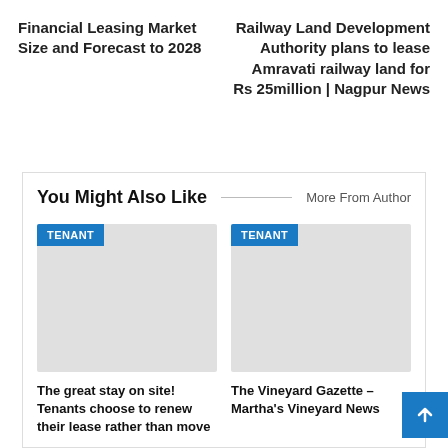Financial Leasing Market Size and Forecast to 2028
Railway Land Development Authority plans to lease Amravati railway land for Rs 25million | Nagpur News
You Might Also Like
More From Author
[Figure (photo): Placeholder image with TENANT badge for article 1]
The great stay on site! Tenants choose to renew their lease rather than move
[Figure (photo): Placeholder image with TENANT badge for article 2]
The Vineyard Gazette – Martha's Vineyard News